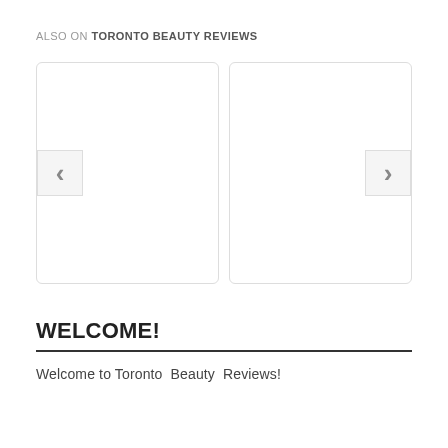ALSO ON TORONTO BEAUTY REVIEWS
[Figure (screenshot): A carousel widget showing two blank white card panels side by side, with a left chevron navigation button on the left card and a right chevron navigation button on the right card.]
WELCOME!
Welcome to Toronto  Beauty  Reviews!